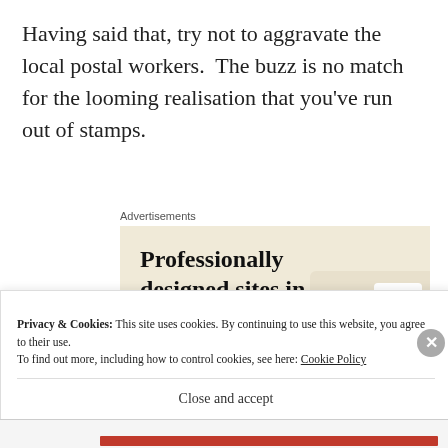Having said that, try not to aggravate the local postal workers.  The buzz is no match for the looming realisation that you've run out of stamps.
[Figure (screenshot): An advertisement box with beige background showing 'Professionally designed sites in less than a week' with a green 'Explore options' button and a mock website screen in the corner.]
Privacy & Cookies: This site uses cookies. By continuing to use this website, you agree to their use. To find out more, including how to control cookies, see here: Cookie Policy
Close and accept